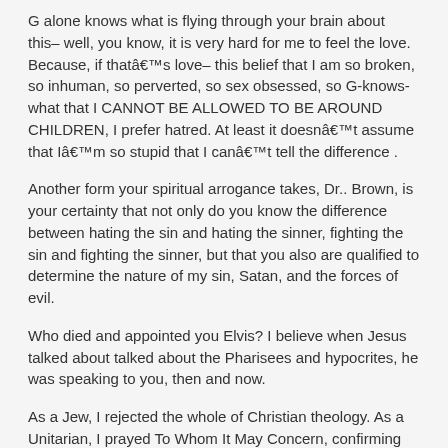G alone knows what is flying through your brain about this– well, you know, it is very hard for me to feel the love. Because, if that's love– this belief that I am so broken, so inhuman, so perverted, so sex obsessed, so G-knows-what that I CANNOT BE ALLOWED TO BE AROUND CHILDREN, I prefer hatred. At least it doesn't assume that I'm so stupid that I can't tell the difference .
Another form your spiritual arrogance takes, Dr.. Brown, is your certainty that not only do you know the difference between hating the sin and hating the sinner, fighting the sin and fighting the sinner, but that you also are qualified to determine the nature of my sin, Satan, and the forces of evil.
Who died and appointed you Elvis? I believe when Jesus talked about talked about the Pharisees and hypocrites, he was speaking to you, then and now.
As a Jew, I rejected the whole of Christian theology. As a Unitarian, I prayed To Whom It May Concern, confirming the jokes about Unitarians. As a Buddhist, I rejected the notion of the Christian God, or indeed, the requirement of ANY god. And finally, as an educated, moral, and thinking adult, I decided that the ultimate answers to ultimate questions ultimately don't matter. Be kind, try not to hurt people, be honest, try to make things better. All the